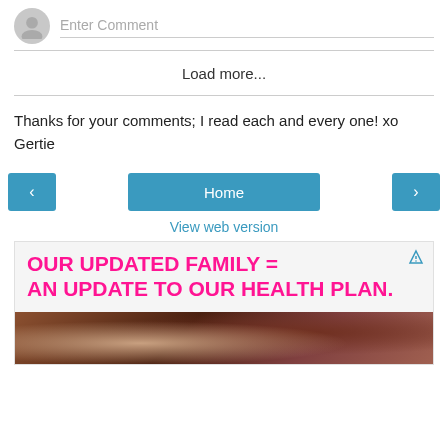Enter Comment
Load more...
Thanks for your comments; I read each and every one! xo Gertie
‹
Home
›
View web version
[Figure (infographic): Advertisement banner with bold pink text reading 'OUR UPDATED FAMILY = AN UPDATE TO OUR HEALTH PLAN.' on light background, with a photo of two people below.]